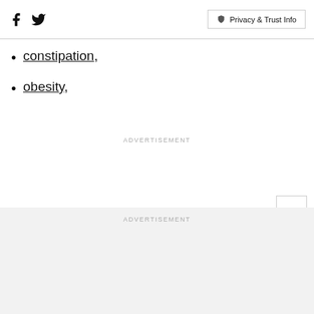Social icons (Facebook, Twitter) | Privacy & Trust Info
constipation,
obesity,
ADVERTISEMENT
ADVERTISEMENT